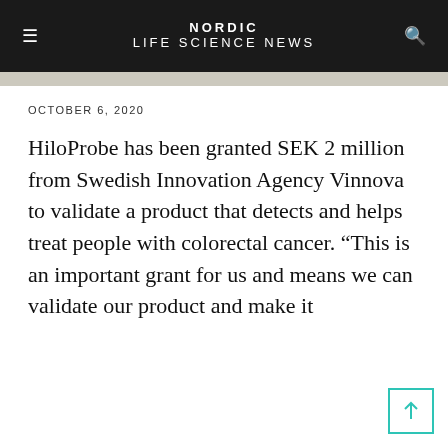NORDIC LIFE SCIENCE NEWS
OCTOBER 6, 2020
HiloProbe has been granted SEK 2 million from Swedish Innovation Agency Vinnova to validate a product that detects and helps treat people with colorectal cancer. “This is an important grant for us and means we can validate our product and make it